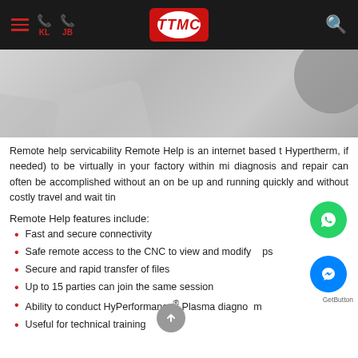[Figure (screenshot): TTMC website navigation bar with hamburger menu, phone icons (KL, JB), TTMC logo in red oval, and search icon]
[Figure (photo): Gray hero image area showing abstract shapes and a gray circle in the upper right]
Remote help servicability Remote Help is an internet based t Hypertherm, if needed) to be virtually in your factory within mi diagnosis and repair can often be accomplished without an on be up and running quickly and without costly travel and wait tin
Remote Help features include:
Fast and secure connectivity
Safe remote access to the CNC to view and modify ps
Secure and rapid transfer of files
Up to 15 parties can join the same session
Ability to conduct HyPerformance® Plasma diagno m
Useful for technical training